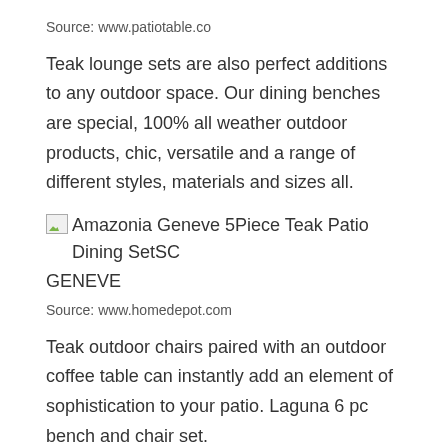Source: www.patiotable.co
Teak lounge sets are also perfect additions to any outdoor space. Our dining benches are special, 100% all weather outdoor products, chic, versatile and a range of different styles, materials and sizes all.
[Figure (illustration): Broken image placeholder icon for Amazonia Geneve 5Piece Teak Patio Dining Set followed by text: Amazonia Geneve 5Piece Teak Patio Dining SetSC GENEVE]
Source: www.homedepot.com
Teak outdoor chairs paired with an outdoor coffee table can instantly add an element of sophistication to your patio. Laguna 6 pc bench and chair set.